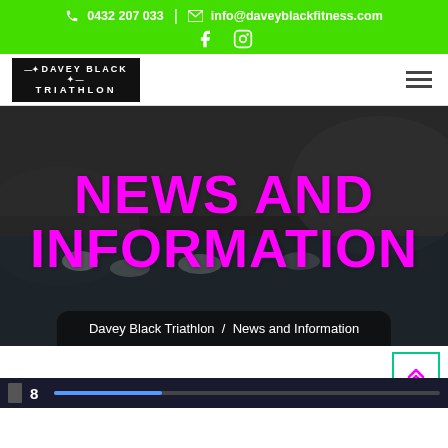📞 0432 207 033 | ✉ info@daveyblackfitness.com | Facebook | Instagram
[Figure (logo): Davey Black Triathlon logo in black box with wings motif]
NEWS AND INFORMATION
Davey Black Triathlon / News and Information
8